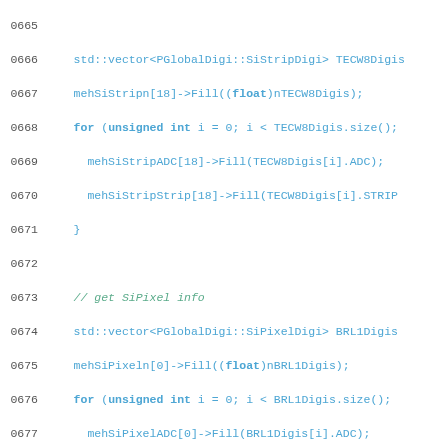Source code listing, lines 0665-0695, C++ particle detector code using PGlobalDigi SiStrip and SiPixel digi filling routines.